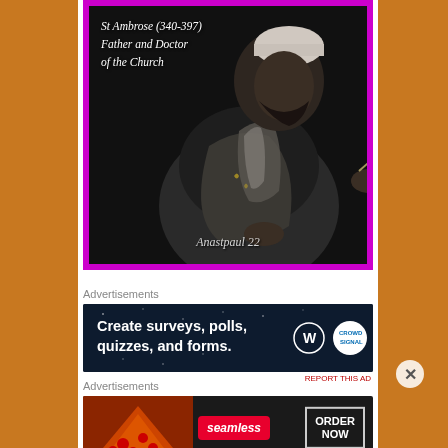[Figure (illustration): Dark painting-style portrait of St Ambrose in ecclesiastical robes, holding a quill, with purple border frame. Text overlay reads 'St Ambrose (340-397) Father and Doctor of the Church' and signature 'Anastpaul 22' at bottom.]
Advertisements
[Figure (screenshot): Dark blue advertisement banner for WordPress/Crowdsignal: 'Create surveys, polls, quizzes, and forms.' with WordPress and Crowdsignal logos.]
Advertisements
[Figure (screenshot): Seamless food delivery advertisement showing pizza slices on left, Seamless logo in red, and 'ORDER NOW' button on dark background.]